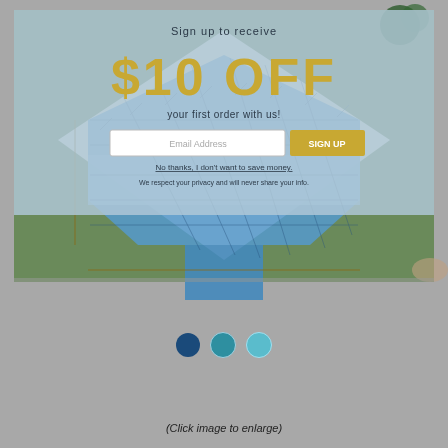[Figure (screenshot): A webpage screenshot showing a promotional overlay with '$10 OFF' signup offer in blue/beige tones over an aerial photo of a pool cover layout with blue geometric shapes on green/white background. Below the main image are three navigation dots (dark blue, teal, light teal) and a caption.]
(Click image to enlarge)